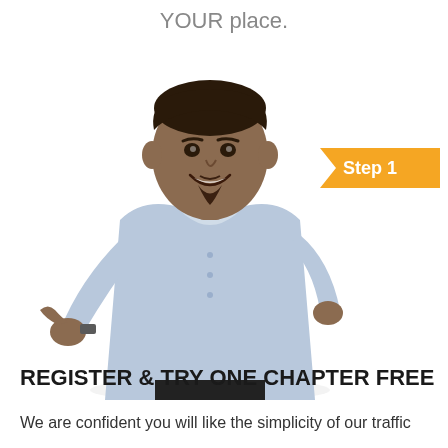YOUR place.
[Figure (photo): A smiling man in a light blue button-up shirt pointing toward the viewer, with a 'Step 1' arrow badge visible to his right]
REGISTER & TRY ONE CHAPTER FREE
We are confident you will like the simplicity of our traffic